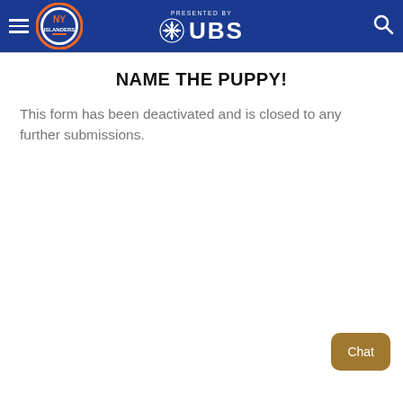NY Islanders — Presented by UBS
NAME THE PUPPY!
This form has been deactivated and is closed to any further submissions.